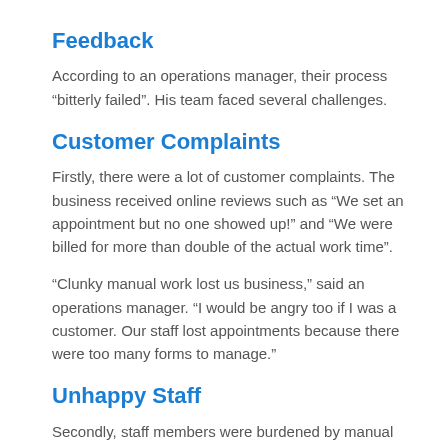Feedback
According to an operations manager, their process “bitterly failed”. His team faced several challenges.
Customer Complaints
Firstly, there were a lot of customer complaints. The business received online reviews such as “We set an appointment but no one showed up!” and “We were billed for more than double of the actual work time”.
“Clunky manual work lost us business,” said an operations manager. “I would be angry too if I was a customer. Our staff lost appointments because there were too many forms to manage.”
Unhappy Staff
Secondly, staff members were burdened by manual